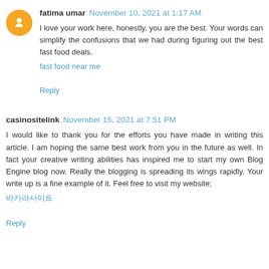fatima umar November 10, 2021 at 1:17 AM
I love your work here, honestly, you are the best. Your words can simplify the confusions that we had during figuring out the best fast food deals.
fast food near me
Reply
casinositelink November 15, 2021 at 7:51 PM
I would like to thank you for the efforts you have made in writing this article. I am hoping the same best work from you in the future as well. In fact your creative writing abilities has inspired me to start my own Blog Engine blog now. Really the blogging is spreading its wings rapidly. Your write up is a fine example of it. Feel free to visit my website;
바카라사이트
Reply